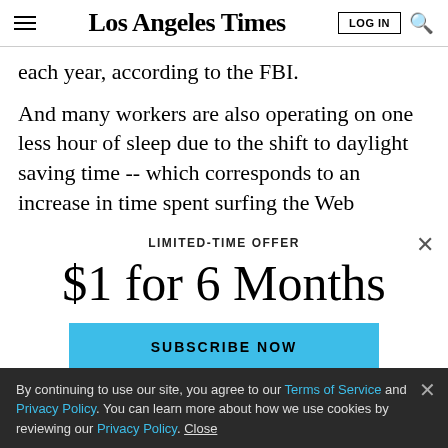Los Angeles Times
each year, according to the FBI.
And many workers are also operating on one less hour of sleep due to the shift to daylight saving time -- which corresponds to an increase in time spent surfing the Web
LIMITED-TIME OFFER
$1 for 6 Months
SUBSCRIBE NOW
By continuing to use our site, you agree to our Terms of Service and Privacy Policy. You can learn more about how we use cookies by reviewing our Privacy Policy. Close